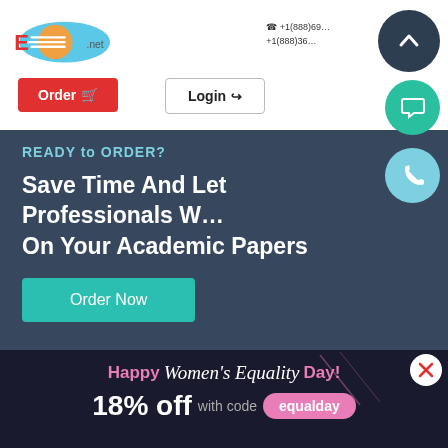[Figure (logo): Essay writing service logo with blue/orange circular speedometer icon and .net domain text]
+1(888)69…
+1(888)36…
Order
Login
READY to ORDER?
Save Time And Let Professionals W… On Your Academic Papers
Order Now
[Figure (illustration): Horizontal strip of colorful educational icon tiles: school bus, spiral, clipboard, medal, document, person, camera, letter N, building, fire truck]
[Figure (illustration): Bottom promotional banner with Women's Equality Day discount offer. Shows 18% off with code equalday.]
Happy Women's Equality Day!
18% off with code equalday